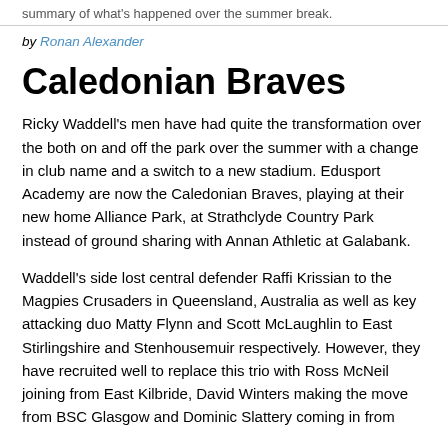summary of what's happened over the summer break.
by Ronan Alexander
Caledonian Braves
Ricky Waddell's men have had quite the transformation over the both on and off the park over the summer with a change in club name and a switch to a new stadium. Edusport Academy are now the Caledonian Braves, playing at their new home Alliance Park, at Strathclyde Country Park instead of ground sharing with Annan Athletic at Galabank.
Waddell's side lost central defender Raffi Krissian to the Magpies Crusaders in Queensland, Australia as well as key attacking duo Matty Flynn and Scott McLaughlin to East Stirlingshire and Stenhousemuir respectively. However, they have recruited well to replace this trio with Ross McNeil joining from East Kilbride, David Winters making the move from BSC Glasgow and Dominic Slattery coming in from